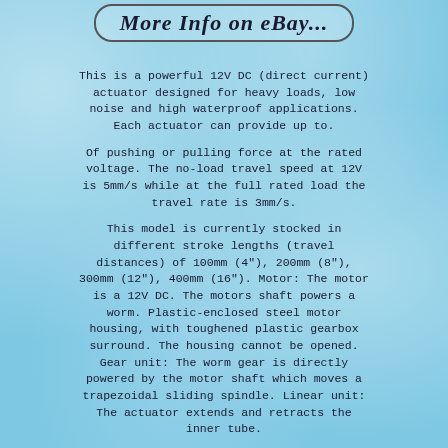More Info on eBay...
This is a powerful 12V DC (direct current) actuator designed for heavy loads, low noise and high waterproof applications. Each actuator can provide up to.
Of pushing or pulling force at the rated voltage. The no-load travel speed at 12V is 5mm/s while at the full rated load the travel rate is 3mm/s.
This model is currently stocked in different stroke lengths (travel distances) of 100mm (4"), 200mm (8"), 300mm (12"), 400mm (16"). Motor: The motor is a 12V DC. The motors shaft powers a worm. Plastic-enclosed steel motor housing, with toughened plastic gearbox surround. The housing cannot be opened. Gear unit: The worm gear is directly powered by the motor shaft which moves a trapezoidal sliding spindle. Linear unit: The actuator extends and retracts the inner tube.
The linear unit is surrounded and protected by the outer tube. This i...